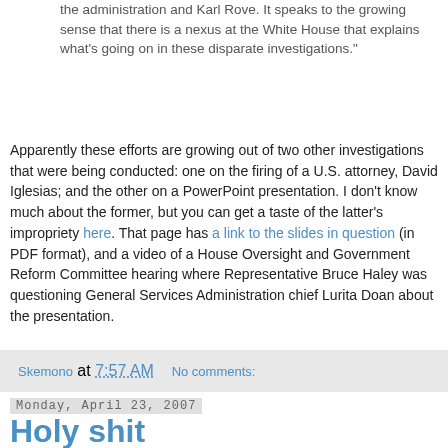the administration and Karl Rove. It speaks to the growing sense that there is a nexus at the White House that explains what's going on in these disparate investigations."
Apparently these efforts are growing out of two other investigations that were being conducted: one on the firing of a U.S. attorney, David Iglesias; and the other on a PowerPoint presentation. I don't know much about the former, but you can get a taste of the latter's impropriety here. That page has a link to the slides in question (in PDF format), and a video of a House Oversight and Government Reform Committee hearing where Representative Bruce Haley was questioning General Services Administration chief Lurita Doan about the presentation.
Skemono at 7:57 AM    No comments:
Monday, April 23, 2007
Holy shit